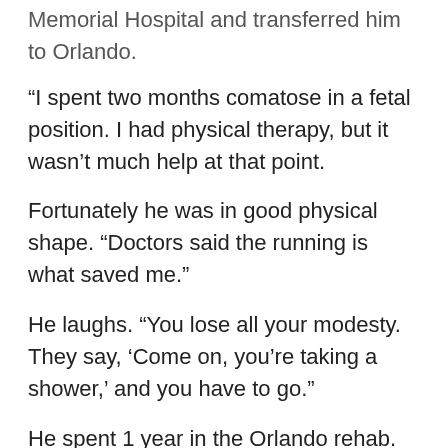Memorial Hospital and transferred him to Orlando.
“I spent two months comatose in a fetal position. I had physical therapy, but it wasn’t much help at that point.
Fortunately he was in good physical shape. “Doctors said the running is what saved me.”
He laughs. “You lose all your modesty. They say, ‘Come on, you’re taking a shower,’ and you have to go.”
He spent 1 year in the Orlando rehab. “That time was hard on my parents. They’d drive down from Ocala to Orlando every weekend, bring me home, then take me back to rehab.” Two trips a week.
Carl dropped from 145 lbs to 120. “They said, you’re too thin, so I ate and ate. The flap over my esophagus was paralyzed and food went down the wrong way. I ended up with